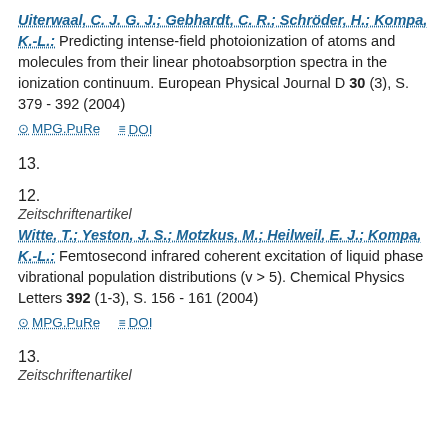Uiterwaal, C. J. G. J.; Gebhardt, C. R.; Schröder, H.; Kompa, K.-L.: Predicting intense-field photoionization of atoms and molecules from their linear photoabsorption spectra in the ionization continuum. European Physical Journal D 30 (3), S. 379 - 392 (2004)
MPG.PuRe   DOI
12.
Zeitschriftenartikel
Witte, T.; Yeston, J. S.; Motzkus, M.; Heilweil, E. J.; Kompa, K.-L.: Femtosecond infrared coherent excitation of liquid phase vibrational population distributions (v > 5). Chemical Physics Letters 392 (1-3), S. 156 - 161 (2004)
MPG.PuRe   DOI
13.
Zeitschriftenartikel